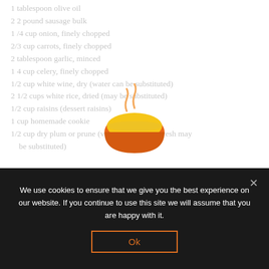1 tablespoon olive oil
2 2 pound sausage bulk
1 /4 cup onion, finely chopped
2/3 cup carrots, finely chopped
2 tablespoon garlic, minced
1 4 cup celery, finely chopped
1/2 cup white wine, dry (water can be substituted)
2 1/2 cups white rice, dried (may be substituted)
1/2 cup raisins (dessert raisins)
1 cup homemade cookie
1/2 cup dry plum or prune (vanilla, brandy or fresh may be substituted)
[Figure (illustration): Hot soup bowl emoji — orange bowl with yellow soup and steam rising]
We use cookies to ensure that we give you the best experience on our website. If you continue to use this site we will assume that you are happy with it.